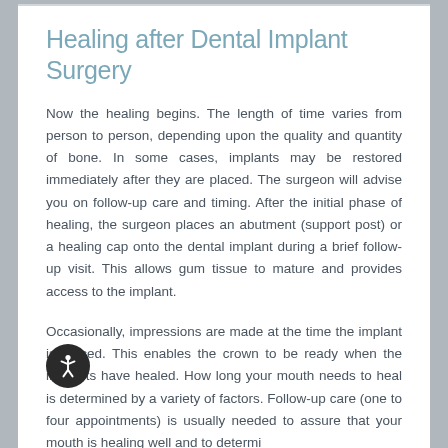Healing after Dental Implant Surgery
Now the healing begins. The length of time varies from person to person, depending upon the quality and quantity of bone. In some cases, implants may be restored immediately after they are placed. The surgeon will advise you on follow-up care and timing. After the initial phase of healing, the surgeon places an abutment (support post) or a healing cap onto the dental implant during a brief follow-up visit. This allows gum tissue to mature and provides access to the implant.
Occasionally, impressions are made at the time the implant is placed. This enables the crown to be ready when the implants have healed. How long your mouth needs to heal is determined by a variety of factors. Follow-up care (one to four appointments) is usually needed to assure that your mouth is healing well and to determine...